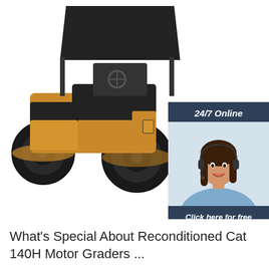[Figure (photo): Yellow and black road roller / compaction machine (resembling a Cat roller) on white background, viewed from a front-left angle. The machine has two drum rollers at front, an operator cab with canopy, and yellow painted body panels.]
[Figure (infographic): Chat widget overlay on dark blue/slate background. Shows '24/7 Online' header, photo of smiling female customer service agent wearing headset, text 'Click here for free chat !', and an orange 'QUOTATION' button.]
What's Special About Reconditioned Cat 140H Motor Graders ...